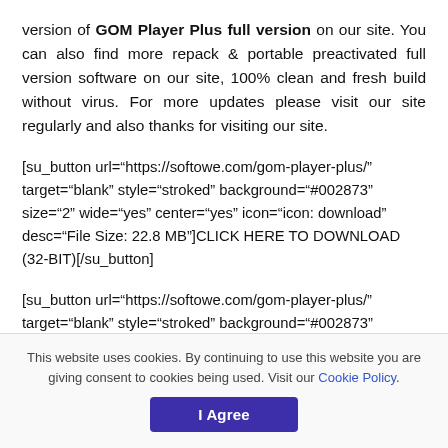version of GOM Player Plus full version on our site. You can also find more repack & portable preactivated full version software on our site, 100% clean and fresh build without virus. For more updates please visit our site regularly and also thanks for visiting our site.
[su_button url="https://softowe.com/gom-player-plus/" target="blank" style="stroked" background="#002873" size="2" wide="yes" center="yes" icon="icon: download" desc="File Size: 22.8 MB"]CLICK HERE TO DOWNLOAD (32-BIT)[/su_button]
[su_button url="https://softowe.com/gom-player-plus/" target="blank" style="stroked" background="#002873"
This website uses cookies. By continuing to use this website you are giving consent to cookies being used. Visit our Cookie Policy.
I Agree